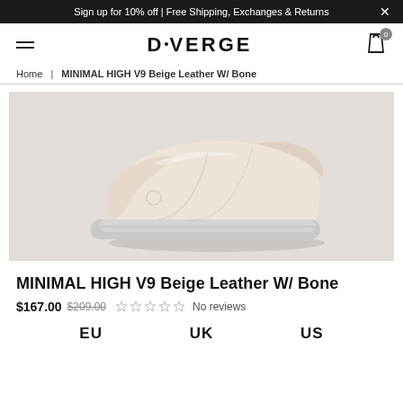Sign up for 10% off | Free Shipping, Exchanges & Returns
DIVERGE
Home | MINIMAL HIGH V9 Beige Leather W/ Bone
[Figure (photo): Beige leather high-top laceless sneaker with gray sole on light gray background]
MINIMAL HIGH V9 Beige Leather W/ Bone
$167.00 $209.00 ☆☆☆☆☆ No reviews
EU  UK  US